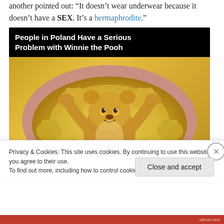another pointed out: “It doesn’t wear underwear because it doesn’t have a SEX. It’s a hermaphrodite.”
[Figure (screenshot): Video thumbnail showing Winnie the Pooh character with honey pot, with play button overlay. Title reads: People in Poland Have a Serious Problem with Winnie the Pooh]
Privacy & Cookies: This site uses cookies. By continuing to use this website, you agree to their use. To find out more, including how to control cookies, see here: Cookie Policy
Close and accept